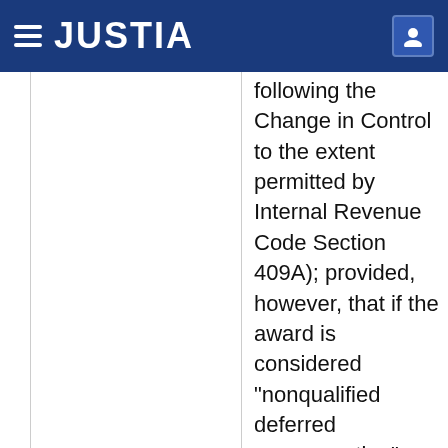JUSTIA
following the Change in Control to the extent permitted by Internal Revenue Code Section 409A); provided, however, that if the award is considered "nonqualified deferred compensation" and (x) the Change in Control was not a "change in control event" within the meaning of Internal Revenue Code Section 409A or (y) the termination of employment occurred more than two years following the occurrence of such "change in control event", then the